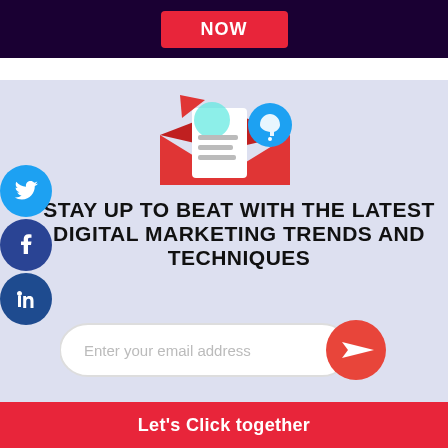[Figure (screenshot): Dark purple top banner with a red button partially visible showing 'Now']
[Figure (illustration): Email marketing illustration: red envelope open with document and cyan notification circle, red arrow, blue bell notification circle on light purple background]
STAY UP TO BEAT WITH THE LATEST DIGITAL MARKETING TRENDS AND TECHNIQUES
[Figure (infographic): Email subscription input field (Enter your email address) with red circular send/arrow button on right]
[Figure (logo): Twitter (blue circle), Facebook (dark blue circle), LinkedIn (dark blue circle) social media icons on left side]
Let's Click together